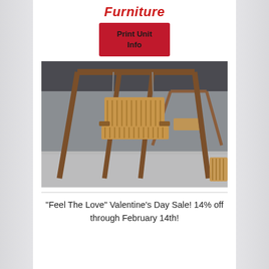Furniture
Print Unit Info
[Figure (photo): Wooden porch swings hanging from A-frame stands inside a warehouse/barn setting. Multiple swings visible, made of slatted wood.]
"Feel The Love" Valentine's Day Sale! 14% off through February 14th!